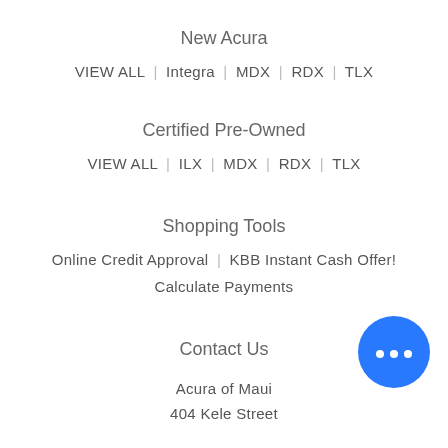New Acura
VIEW ALL | Integra | MDX | RDX | TLX
Certified Pre-Owned
VIEW ALL | ILX | MDX | RDX | TLX
Shopping Tools
Online Credit Approval | KBB Instant Cash Offer!
Calculate Payments
Contact Us
Acura of Maui
404 Kele Street